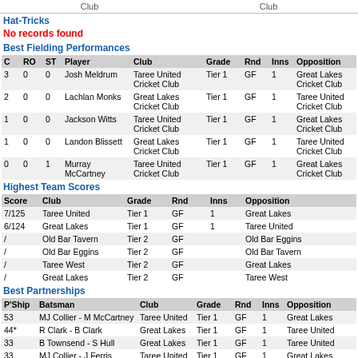Club   Club
Hat-Tricks
No records found
Best Fielding Performances
| C | RO | ST | Player | Club | Grade | Rnd | Inns | Opposition |
| --- | --- | --- | --- | --- | --- | --- | --- | --- |
| 3 | 0 | 0 | Josh Meldrum | Taree United Cricket Club | Tier 1 | GF | 1 | Great Lakes Cricket Club |
| 2 | 0 | 0 | Lachlan Monks | Great Lakes Cricket Club | Tier 1 | GF | 1 | Taree United Cricket Club |
| 1 | 0 | 0 | Jackson Witts | Taree United Cricket Club | Tier 1 | GF | 1 | Great Lakes Cricket Club |
| 1 | 0 | 0 | Landon Blissett | Great Lakes Cricket Club | Tier 1 | GF | 1 | Taree United Cricket Club |
| 0 | 0 | 1 | Murray McCartney | Taree United Cricket Club | Tier 1 | GF | 1 | Great Lakes Cricket Club |
Highest Team Scores
| Score | Club | Grade | Rnd | Inns | Opposition |
| --- | --- | --- | --- | --- | --- |
| 7/125 | Taree United | Tier 1 | GF | 1 | Great Lakes |
| 6/124 | Great Lakes | Tier 1 | GF | 1 | Taree United |
| / | Old Bar Tavern | Tier 2 | GF |  | Old Bar Eggins |
| / | Old Bar Eggins | Tier 2 | GF |  | Old Bar Tavern |
| / | Taree West | Tier 2 | GF |  | Great Lakes |
| / | Great Lakes | Tier 2 | GF |  | Taree West |
Best Partnerships
| P'Ship | Batsman | Club | Grade | Rnd | Inns | Opposition |
| --- | --- | --- | --- | --- | --- | --- |
| 53 | MJ Collier - M McCartney | Taree United | Tier 1 | GF | 1 | Great Lakes |
| 44* | R Clark - B Clark | Great Lakes | Tier 1 | GF | 1 | Taree United |
| 33 | B Townsend - S Hull | Great Lakes | Tier 1 | GF | 1 | Taree United |
| 33 | MJ Collier - J Ferris | Taree United | Tier 1 | GF | 1 | Great Lakes |